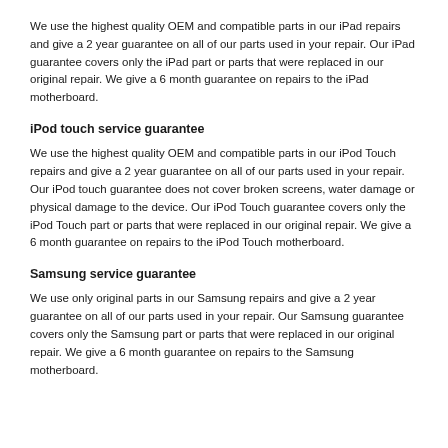We use the highest quality OEM and compatible parts in our iPad repairs and give a 2 year guarantee on all of our parts used in your repair. Our iPad guarantee covers only the iPad part or parts that were replaced in our original repair. We give a 6 month guarantee on repairs to the iPad motherboard.
iPod touch service guarantee
We use the highest quality OEM and compatible parts in our iPod Touch repairs and give a 2 year guarantee on all of our parts used in your repair. Our iPod touch guarantee does not cover broken screens, water damage or physical damage to the device. Our iPod Touch guarantee covers only the iPod Touch part or parts that were replaced in our original repair. We give a 6 month guarantee on repairs to the iPod Touch motherboard.
Samsung service guarantee
We use only original parts in our Samsung repairs and give a 2 year guarantee on all of our parts used in your repair. Our Samsung guarantee covers only the Samsung part or parts that were replaced in our original repair. We give a 6 month guarantee on repairs to the Samsung motherboard.